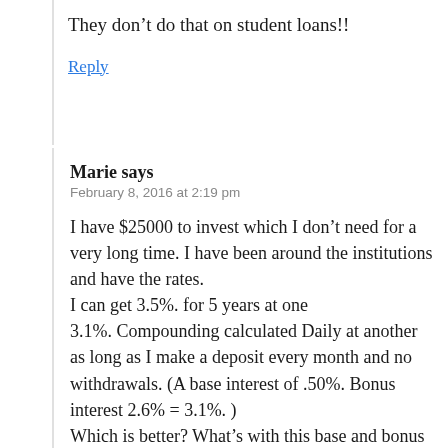They don’t do that on student loans!!
Reply
Marie says
February 8, 2016 at 2:19 pm
I have $25000 to invest which I don’t need for a very long time. I have been around the institutions and have the rates.
I can get 3.5%. for 5 years at one
3.1%. Compounding calculated Daily at another as long as I make a deposit every month and no withdrawals. (A base interest of .50%. Bonus interest 2.6% = 3.1%. )
Which is better? What’s with this base and bonus interest business?

My question is